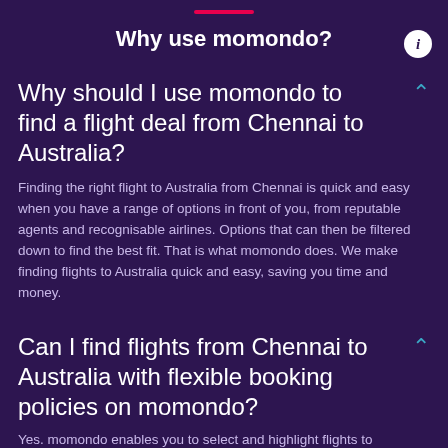Why use momondo?
Why should I use momondo to find a flight deal from Chennai to Australia?
Finding the right flight to Australia from Chennai is quick and easy when you have a range of options in front of you, from reputable agents and recognisable airlines. Options that can then be filtered down to find the best fit. That is what momondo does. We make finding flights to Australia quick and easy, saving you time and money.
Can I find flights from Chennai to Australia with flexible booking policies on momondo?
Yes. momondo enables you to select and highlight flights to